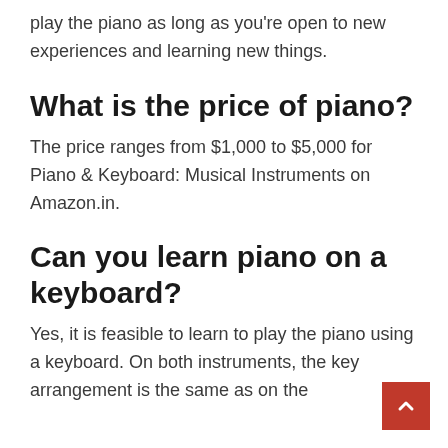play the piano as long as you're open to new experiences and learning new things.
What is the price of piano?
The price ranges from $1,000 to $5,000 for Piano & Keyboard: Musical Instruments on Amazon.in.
Can you learn piano on a keyboard?
Yes, it is feasible to learn to play the piano using a keyboard. On both instruments, the key arrangement is the same as on the